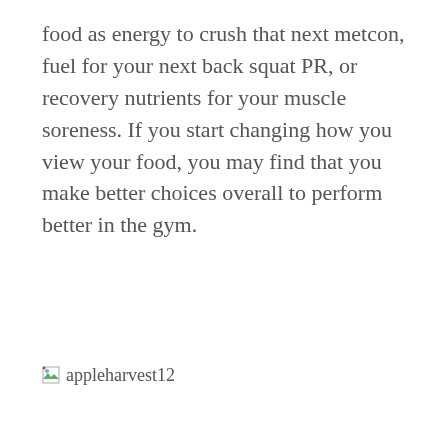food as energy to crush that next metcon, fuel for your next back squat PR, or recovery nutrients for your muscle soreness. If you start changing how you view your food, you may find that you make better choices overall to perform better in the gym.
[Figure (photo): Broken image placeholder with alt text 'appleharvest12']